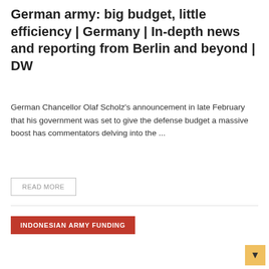German army: big budget, little efficiency | Germany | In-depth news and reporting from Berlin and beyond | DW
German Chancellor Olaf Scholz's announcement in late February that his government was set to give the defense budget a massive boost has commentators delving into the ...
READ MORE
INDONESIAN ARMY FUNDING